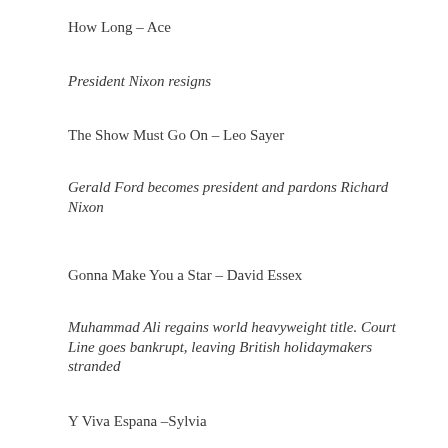How Long – Ace
President Nixon resigns
The Show Must Go On – Leo Sayer
Gerald Ford becomes president and pardons Richard Nixon
Gonna Make You a Star – David Essex
Muhammad Ali regains world heavyweight title. Court Line goes bankrupt, leaving British holidaymakers stranded
Y Viva Espana –Sylvia